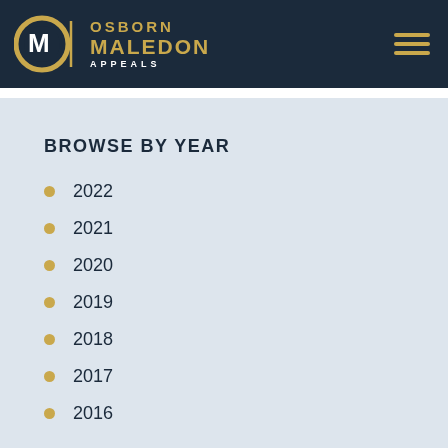Osborn Maledon Appeals
BROWSE BY YEAR
2022
2021
2020
2019
2018
2017
2016